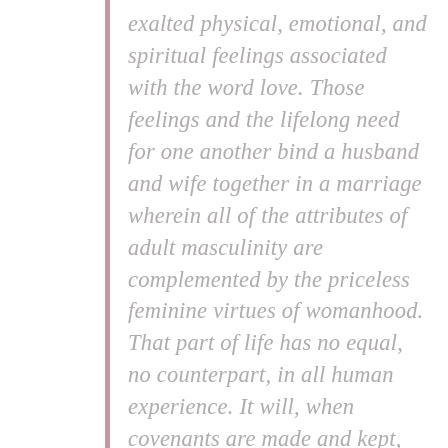exalted physical, emotional, and spiritual feelings associated with the word love. Those feelings and the lifelong need for one another bind a husband and wife together in a marriage wherein all of the attributes of adult masculinity are complemented by the priceless feminine virtues of womanhood. That part of life has no equal, no counterpart, in all human experience. It will, when covenants are made and kept, last eternally, “For therein are the keys of the holy priesthood ordained, that you may receive honor